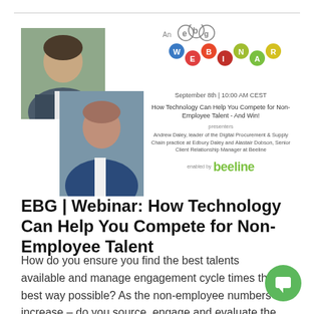[Figure (infographic): Webinar promotional image with two presenter photos on the left, EBG webinar logo at top center, date 'September 8th | 10:00 AM CEST', webinar title 'How Technology Can Help You Compete for Non-Employee Talent - And Win!', presenter names Andrew Daley and Alastair Dobson, and Beeline logo at bottom.]
EBG | Webinar: How Technology Can Help You Compete for Non-Employee Talent
How do you ensure you find the best talents available and manage engagement cycle times the best way possible? As the non-employee numbers increase – do you source, engage and evaluate the talents you